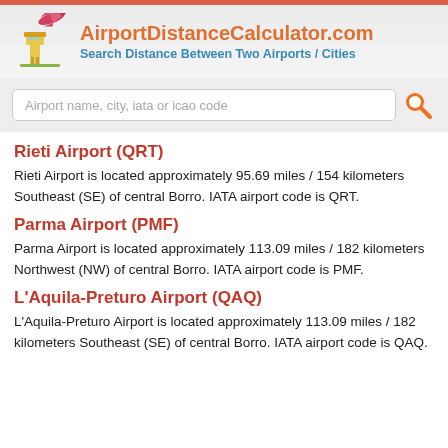AirportDistanceCalculator.com — Search Distance Between Two Airports / Cities
Rieti Airport (QRT)
Rieti Airport is located approximately 95.69 miles / 154 kilometers Southeast (SE) of central Borro. IATA airport code is QRT.
Parma Airport (PMF)
Parma Airport is located approximately 113.09 miles / 182 kilometers Northwest (NW) of central Borro. IATA airport code is PMF.
L'Aquila-Preturo Airport (QAQ)
L'Aquila-Preturo Airport is located approximately 113.09 miles / 182 kilometers Southeast (SE) of central Borro. IATA airport code is QAQ.